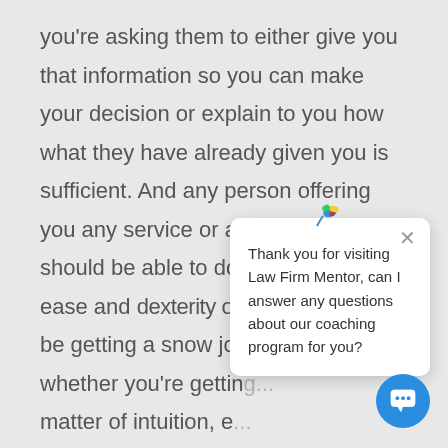you're asking them to either give you that information so you can make your decision or explain to you how what they have already given you is sufficient. And any person offering you any service or any product should be able to do that with relative ease and dexterity or else you might be getting a snow job... whether you're getting... matter of intuition, e... markers for whether someone is being truthful. More often than not, it's about how you feel a... what the person is telling you.
[Figure (screenshot): Chat popup widget with bird logo, close button, and message: 'Thank you for visiting Law Firm Mentor, can I answer any questions about our coaching program for you?' with a blue circular chat button in the bottom right.]